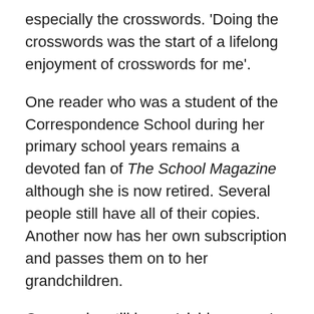especially the crosswords. 'Doing the crosswords was the start of a lifelong enjoyment of crosswords for me'.
One reader who was a student of the Correspondence School during her primary school years remains a devoted fan of The School Magazine although she is now retired. Several people still have all of their copies. Another now has her own subscription and passes them on to her grandchildren.
One reader still has a 'vivid memory' of the day she was the only child in her class to get no mistakes in a spelling test. She was allowed to sit outside in the sun with a 'pile of School Magazines for a blissful [continues…]'